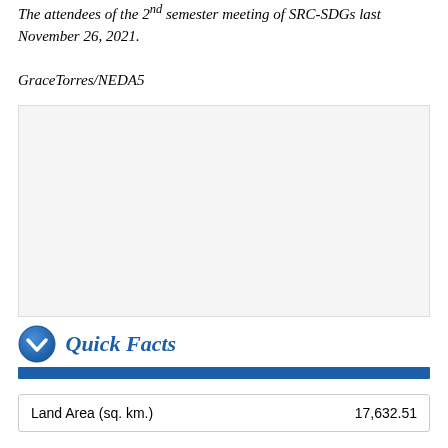The attendees of the 2nd semester meeting of SRC-SDGs last November 26, 2021.
GraceTorres/NEDA5
[Figure (photo): Photo of attendees at the 2nd semester meeting of SRC-SDGs, November 26, 2021.]
Quick Facts
|  |  |
| --- | --- |
| Land Area (sq. km.) | 17,632.51 |